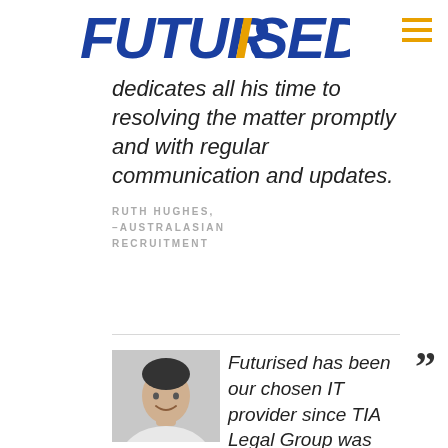[Figure (logo): Futurised company logo in blue and orange italic lettering]
dedicates all his time to resolving the matter promptly and with regular communication and updates.
RUTH HUGHES, –AUSTRALASIAN RECRUITMENT
[Figure (photo): Black and white headshot photo of a smiling man in a white shirt]
Futurised has been our chosen IT provider since TIA Legal Group was established in 2010.